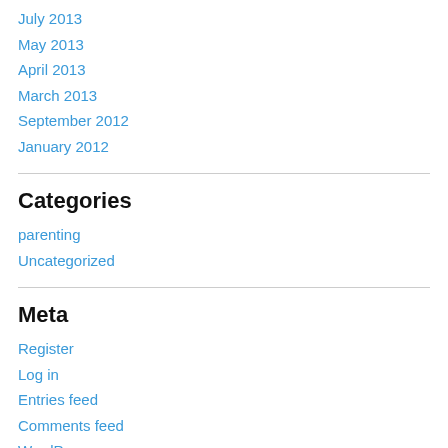July 2013
May 2013
April 2013
March 2013
September 2012
January 2012
Categories
parenting
Uncategorized
Meta
Register
Log in
Entries feed
Comments feed
WordPress.org